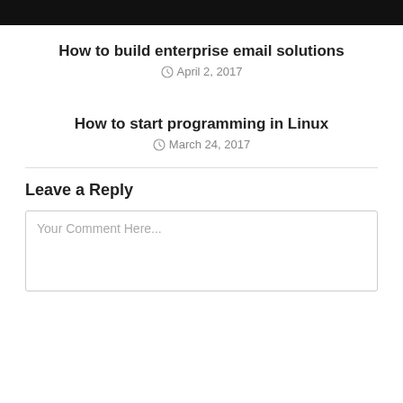[Figure (other): Black header bar at the top of the page]
How to build enterprise email solutions
April 2, 2017
How to start programming in Linux
March 24, 2017
Leave a Reply
Your Comment Here...